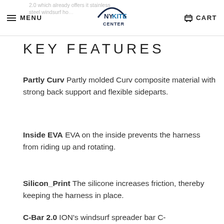MENU | NY KITE CENTER | CART
KEY FEATURES
Partly Curv Partly molded Curv composite material with strong back support and flexible sideparts.
Inside EVA EVA on the inside prevents the harness from riding up and rotating.
Silicon_Print The silicone increases friction, thereby keeping the harness in place.
C-Bar 2.0 ION's windsurf spreader bar C-